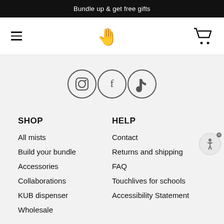Bundle up & get free gifts
[Figure (logo): Hamburger menu icon, hand logo icon, and shopping cart icon in a navigation bar]
[Figure (other): Social media icons: Instagram, Facebook, TikTok]
SHOP
All mists
Build your bundle
Accessories
Collaborations
KUB dispenser
Wholesale
HELP
Contact
Returns and shipping
FAQ
Touchlives for schools
Accessibility Statement